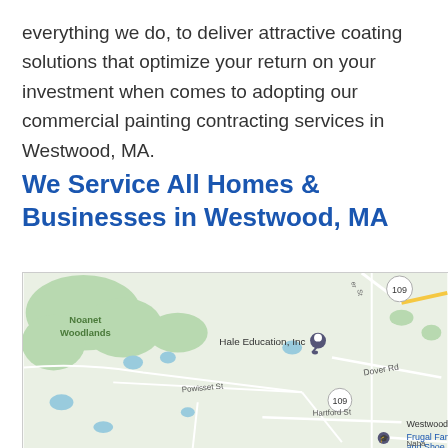everything we do, to deliver attractive coating solutions that optimize your return on your investment when comes to adopting our commercial painting contracting services in Westwood, MA.
We Service All Homes & Businesses in Westwood, MA
[Figure (map): Google Maps view of Westwood, MA area showing Noanet Woodlands, Hale Education Inc, Dover Rd, Powisset St, Hartford St, route 109, and partial labels for Westwood High School, Frugal Fann and Shoe]